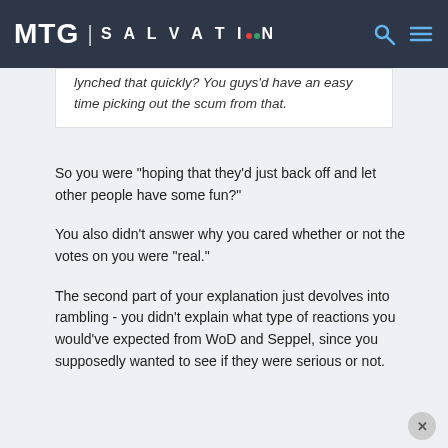MTG | SALVATION
lynched that quickly? You guys'd have an easy time picking out the scum from that.
So you were "hoping that they'd just back off and let other people have some fun?"
You also didn't answer why you cared whether or not the votes on you were "real."
The second part of your explanation just devolves into rambling - you didn't explain what type of reactions you would've expected from WoD and Seppel, since you supposedly wanted to see if they were serious or not.